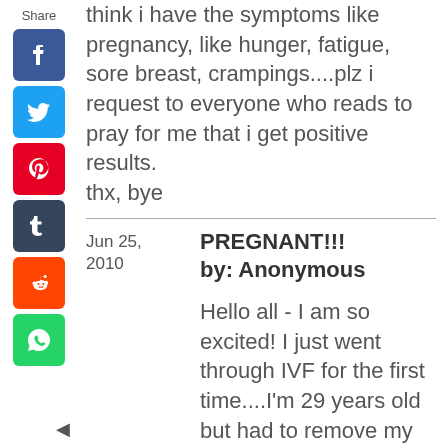[Figure (infographic): Social media share sidebar with Facebook, Twitter, Pinterest, Tumblr, Reddit, WhatsApp icons and Share label]
think i have the symptoms like pregnancy, like hunger, fatigue, sore breast, crampings....plz i request to everyone who reads to pray for me that i get positive results.

thx, bye
PREGNANT!!!
by: Anonymous

Hello all - I am so excited! I just went through IVF for the first time....I'm 29 years old but had to remove my tubes because I kept